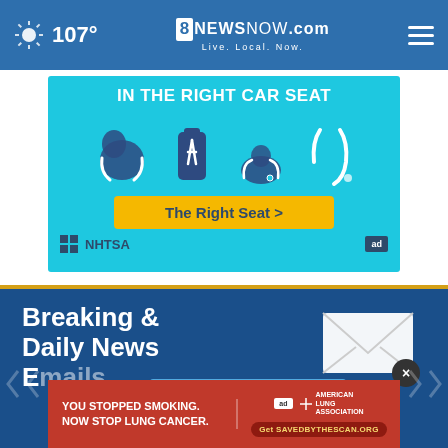107° 8NewsNOW.com Live. Local. Now.
[Figure (infographic): NHTSA car seat safety ad: 'IN THE RIGHT CAR SEAT' with four car seat type icons, a yellow 'The Right Seat >' button, and NHTSA logo.]
[Figure (infographic): Breaking & Daily News Emails newsletter signup section with envelope icon and SIGN UP button, and a red American Lung Association ad at the bottom: 'YOU STOPPED SMOKING. NOW STOP LUNG CANCER.' with SavedByTheScan.org URL.]